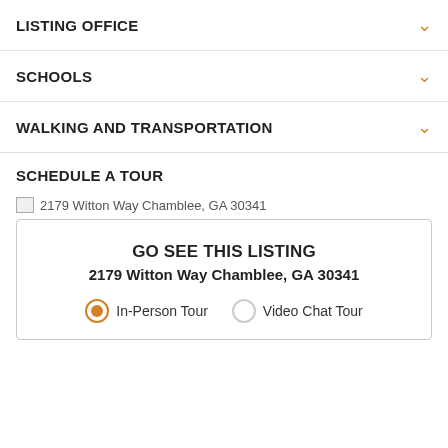LISTING OFFICE
SCHOOLS
WALKING AND TRANSPORTATION
SCHEDULE A TOUR
[Figure (other): Broken image icon for 2179 Witton Way Chamblee, GA 30341]
2179 Witton Way Chamblee, GA 30341
GO SEE THIS LISTING
2179 Witton Way Chamblee, GA 30341
In-Person Tour  Video Chat Tour